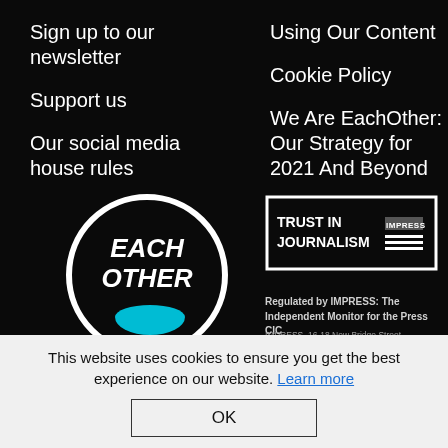Sign up to our newsletter
Support us
Our social media house rules
Using Our Content
Cookie Policy
We Are EachOther: Our Strategy for 2021 And Beyond
[Figure (logo): EachOther circular logo — white circle outline on black background with 'EACH OTHER' text in white handwritten style inside]
[Figure (logo): Trust In Journalism IMPRESS badge — white bordered rectangle containing 'TRUST IN JOURNALISM' bold text and IMPRESS label with horizontal bars]
Regulated by IMPRESS: The Independent Monitor for the Press CIC
IMPRESS, 16-18 New Bridge Street, London, EC4V 6AG
This website uses cookies to ensure you get the best experience on our website. Learn more
OK